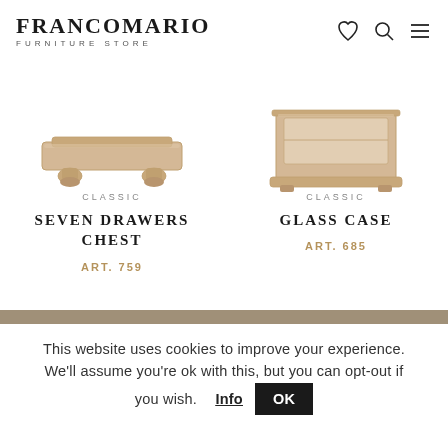FRANCOMARIO FURNITURE STORE
[Figure (photo): Partial photo of a classic wooden low chest/bench with carved legs, light oak finish.]
CLASSIC
SEVEN DRAWERS CHEST
ART. 759
[Figure (photo): Partial photo of a classic wooden glass case / display cabinet with carved details, light oak finish.]
CLASSIC
GLASS CASE
ART. 685
This website uses cookies to improve your experience. We'll assume you're ok with this, but you can opt-out if you wish.  Info  OK